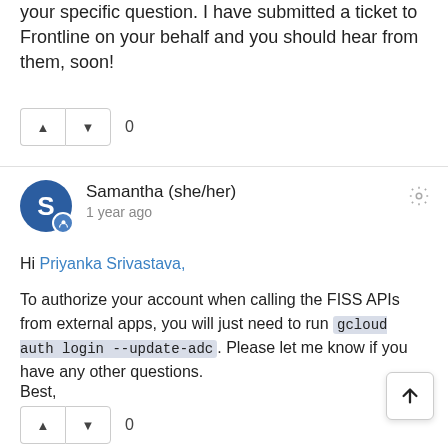your specific question. I have submitted a ticket to Frontline on your behalf and you should hear from them, soon!
Samantha (she/her)
1 year ago
Hi Priyanka Srivastava,

To authorize your account when calling the FISS APIs from external apps, you will just need to run gcloud auth login --update-adc. Please let me know if you have any other questions.

Best,

Samantha